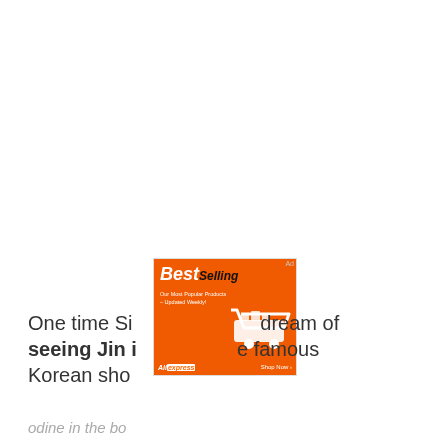[Figure (other): Advertisement banner overlay with black bar reading 'ADVERTISEMENT ✕' above an orange AliExpress 'BestSelling – Our Most Popular Products – Updated Weekly!' ad with shopping cart graphic and 'Shop Now' button]
One time Si dream of seeing Jin i famous Korean sho